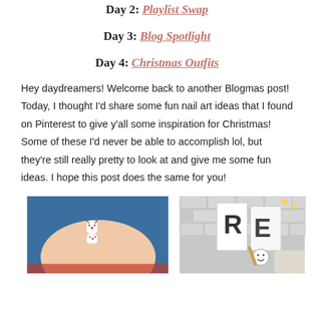Day 2: Playlist Swap
Day 3: Blog Spotlight
Day 4: Christmas Outfits
Hey daydreamers! Welcome back to another Blogmas post! Today, I thought I'd share some fun nail art ideas that I found on Pinterest to give y'all some inspiration for Christmas! Some of these I'd never be able to accomplish lol, but they're still really pretty to look at and give me some fun ideas. I hope this post does the same for you!
[Figure (photo): Close-up photo of a hand holding a white nail with reindeer nail art designs painted on it, against a blue background]
[Figure (photo): Photo showing someone drawing or writing on white tiles or cards with a marker, with a smiley face visible and fairy lights in the background]